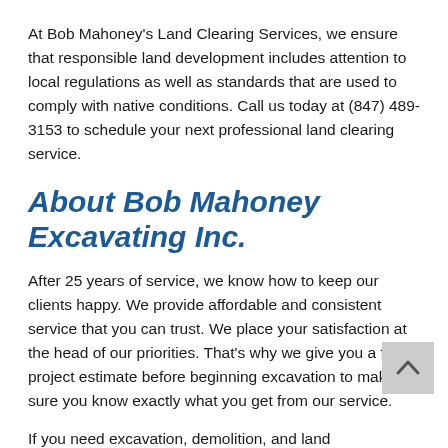At Bob Mahoney's Land Clearing Services, we ensure that responsible land development includes attention to local regulations as well as standards that are used to comply with native conditions. Call us today at (847) 489-3153 to schedule your next professional land clearing service.
About Bob Mahoney Excavating Inc.
After 25 years of service, we know how to keep our clients happy. We provide affordable and consistent service that you can trust. We place your satisfaction at the head of our priorities. That's why we give you a free project estimate before beginning excavation to make sure you know exactly what you get from our service.
If you need excavation, demolition, and land